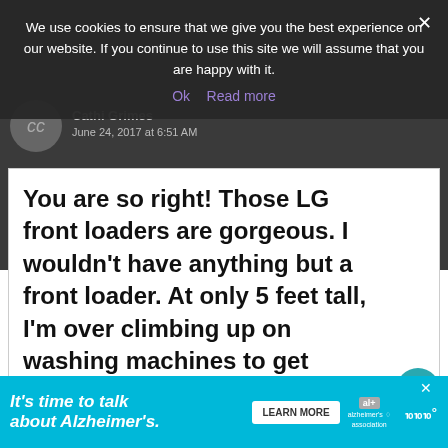We use cookies to ensure that we give you the best experience on our website. If you continue to use this site we will assume that you are happy with it.
Cathi Grimes
June 24, 2017 at 6:51 AM
You are so right! Those LG front loaders are gorgeous. I wouldn't have anything but a front loader. At only 5 feet tall, I'm over climbing up on washing machines to get socks at the bottom of the drum. Cheers for front loaders!
73
WHAT'S NEXT → How to Choose the...
[Figure (infographic): Advertisement banner: cyan/teal background. Text reads 'It's time to talk about Alzheimer's.' with a Learn More button, Alzheimer's Association logo, and a close X button.]